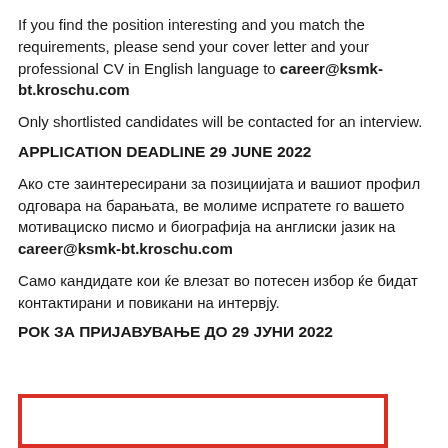If you find the position interesting and you match the requirements, please send your cover letter and your professional CV in English language to career@ksmk-bt.kroschu.com
Only shortlisted candidates will be contacted for an interview.
APPLICATION DEADLINE 29 JUNE 2022
Ако сте заинтересирани за позициијата и вашиот профил одговара на барањата, ве молиме испратете го вашето мотивациско писмо и биографија на англиски јазик на career@ksmk-bt.kroschu.com
Само кандидате кои ќе влезат во потесен избор ќе бидат контактирани и повикани на интервју.
РОК ЗА ПРИЈАВУВАЊЕ ДО 29 ЈУНИ 2022
[Figure (other): Red-bordered rectangle box at the bottom of the page]